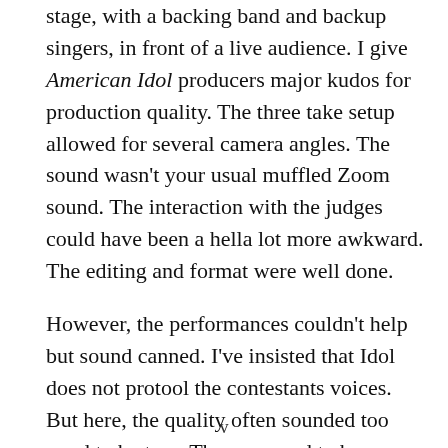stage, with a backing band and backup singers, in front of a live audience. I give American Idol producers major kudos for production quality. The three take setup allowed for several camera angles. The sound wasn't your usual muffled Zoom sound. The interaction with the judges could have been a hella lot more awkward. The editing and format were well done.
However, the performances couldn't help but sound canned. I've insisted that Idol does not protool the contestants voices. But here, the quality often sounded too good to be true. There seemed to be no pitch...
v